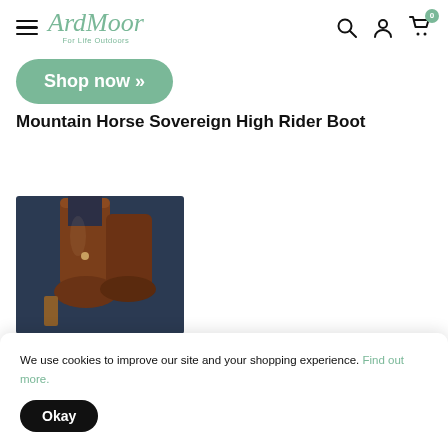ArdMoor — For Life Outdoors
Shop now »
Mountain Horse Sovereign High Rider Boot
[Figure (photo): Photo of brown leather riding boots, tall style, worn by a rider, shot close up against a dark background.]
We use cookies to improve our site and your shopping experience. Find out more.
Okay